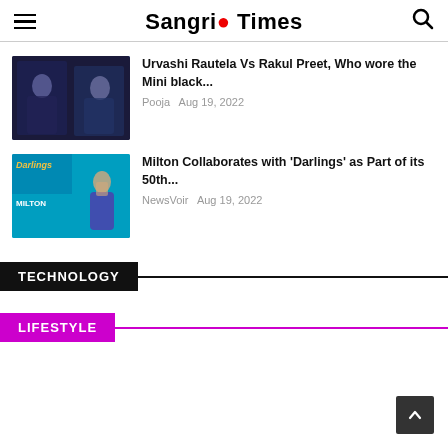Sangri Times
[Figure (photo): Two women in black sequin outfits]
Urvashi Rautela Vs Rakul Preet, Who wore the Mini black...
Pooja  Aug 19, 2022
[Figure (photo): Darlings movie promotion with Milton brand - woman in blue outfit]
Milton Collaborates with 'Darlings' as Part of its 50th...
NewsVoir  Aug 19, 2022
TECHNOLOGY
LIFESTYLE